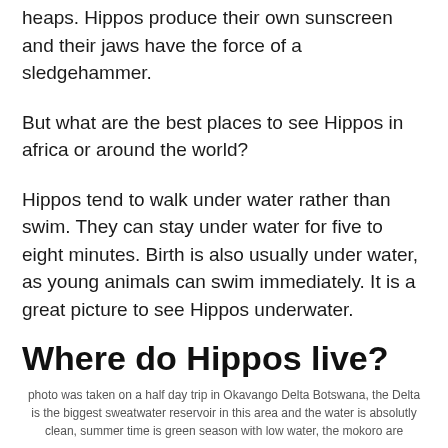heaps. Hippos produce their own sunscreen and their jaws have the force of a sledgehammer.
But what are the best places to see Hippos in africa or around the world?
Hippos tend to walk under water rather than swim. They can stay under water for five to eight minutes. Birth is also usually under water, as young animals can swim immediately. It is a great picture to see Hippos underwater.
Where do Hippos live?
photo was taken on a half day trip in Okavango Delta Botswana, the Delta is the biggest sweatwater reservoir in this area and the water is absolutly clean, summer time is green season with low water, the mokoro are